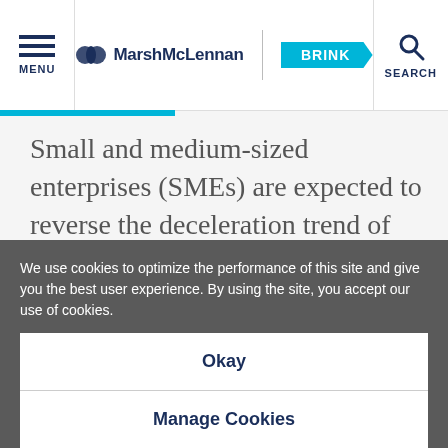MENU | MarshMcLennan BRINK | SEARCH
Small and medium-sized enterprises (SMEs) are expected to reverse the deceleration trend of labor productivity in Asia. They are the key drivers of Asia's economies, accounting for 96 percent of
We use cookies to optimize the performance of this site and give you the best user experience. By using the site, you accept our use of cookies.
Okay
Manage Cookies